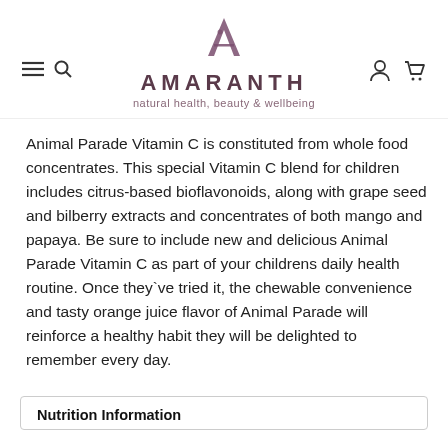AMARANTH — natural health, beauty & wellbeing
Animal Parade Vitamin C is constituted from whole food concentrates. This special Vitamin C blend for children includes citrus-based bioflavonoids, along with grape seed and bilberry extracts and concentrates of both mango and papaya. Be sure to include new and delicious Animal Parade Vitamin C as part of your childrens daily health routine. Once they`ve tried it, the chewable convenience and tasty orange juice flavor of Animal Parade will reinforce a healthy habit they will be delighted to remember every day.
Nutrition Information